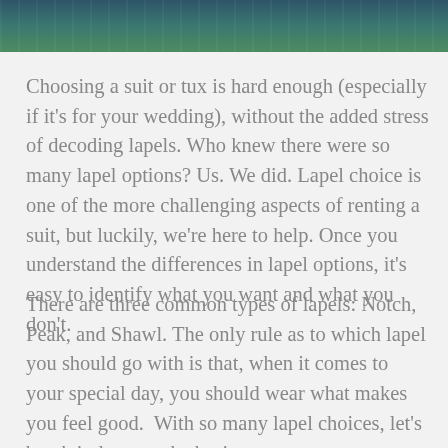[Figure (photo): Partial bottom crop of a photo showing people in formal/semi-formal attire, with dark teal and green tones, likely at a wedding or formal event.]
Choosing a suit or tux is hard enough (especially if it's for your wedding), without the added stress of decoding lapels. Who knew there were so many lapel options? Us. We did. Lapel choice is one of the more challenging aspects of renting a suit, but luckily, we're here to help. Once you understand the differences in lapel options, it's easy to identify what you want and what you don't.
There are three common types of lapels: Notch, Peak, and Shawl. The only rule as to which lapel you should go with is that, when it comes to your special day, you should wear what makes you feel good.  With so many lapel choices, let's break it down to the basics.